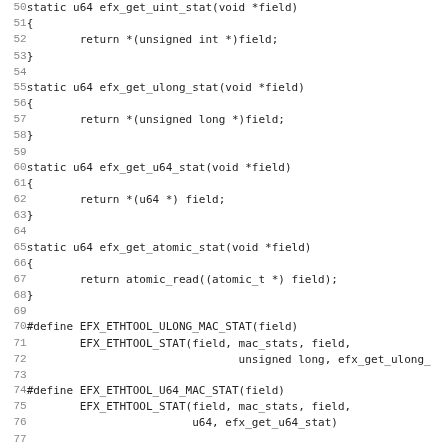Source code listing lines 50-82, showing C static functions and #define macros for efx ethtool statistics helpers.